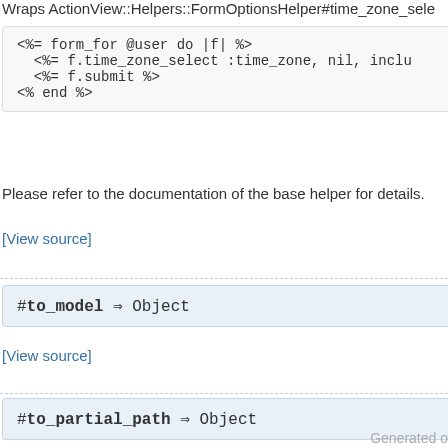Wraps ActionView::Helpers::FormOptionsHelper#time_zone_sele
[Figure (screenshot): Code block showing ERB template with form_for, f.time_zone_select, f.submit, and end tags]
Please refer to the documentation of the base helper for details.
[View source]
#to_model ⇒ Object
[View source]
#to_partial_path ⇒ Object
[View source]
Generated o